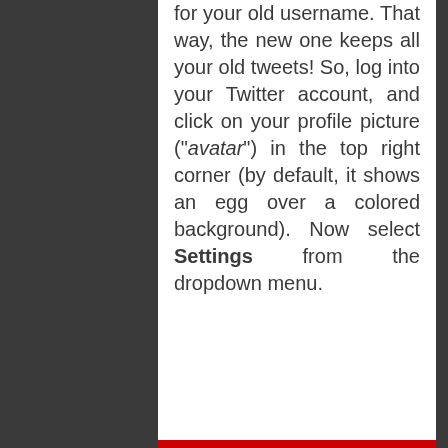for your old username. That way, the new one keeps all your old tweets! So, log into your Twitter account, and click on your profile picture ("avatar") in the top right corner (by default, it shows an egg over a colored background). Now select Settings from the dropdown menu.